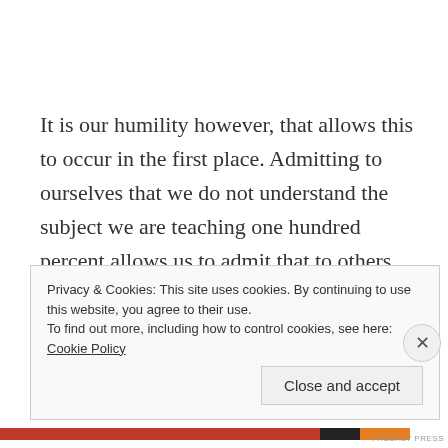It is our humility however, that allows this to occur in the first place. Admitting to ourselves that we do not understand the subject we are teaching one hundred percent allows us to admit that to others. Once we have admitted that we are not experts, it allows us to admit when we don't know something and gives us an opportunity to highlight and correct our own
Privacy & Cookies: This site uses cookies. By continuing to use this website, you agree to their use.
To find out more, including how to control cookies, see here: Cookie Policy
Close and accept